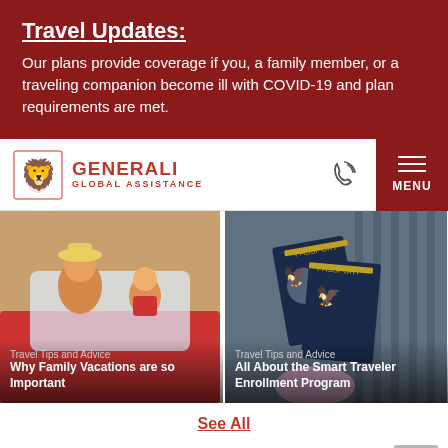Travel Updates:
Our plans provide coverage if you, a family member, or a traveling companion become ill with COVID-19 and plan requirements are met.
[Figure (logo): Generali Global Assistance logo with lion emblem]
[Figure (photo): Phone/call icon]
[Figure (photo): MENU navigation button]
[Figure (photo): Woman and child leaning out of red car window, smiling]
Travel Tips and Advice
Why Family Vacations are so Important
[Figure (photo): Hand holding two navy blue US passports against urban background]
Travel Tips and Advice
All About the Smart Traveler Enrollment Program
See All
A8852002